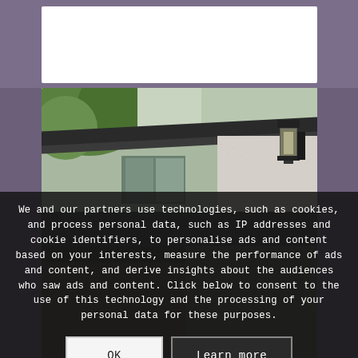[Figure (logo): White card with decorative ampersand/script letter watermark on purple background header area]
[Figure (photo): Close-up photograph of a house exterior showing gutters, fascia boards, green trees, windows, and a black wall-mounted lantern light fixture on rendered wall]
We and our partners use technologies, such as cookies, and process personal data, such as IP addresses and cookie identifiers, to personalise ads and content based on your interests, measure the performance of ads and content, and derive insights about the audiences who saw ads and content. Click below to consent to the use of this technology and the processing of your personal data for these purposes.
OK
Learn more